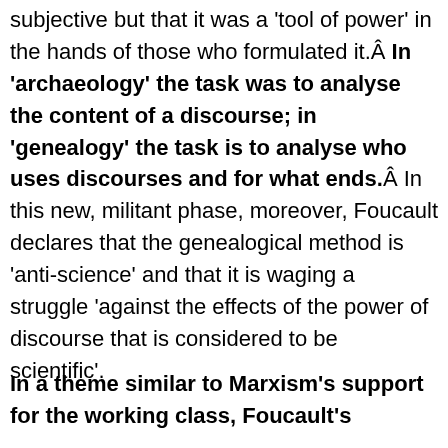subjective but that it was a 'tool of power' in the hands of those who formulated it.Â In 'archaeology' the task was to analyse the content of a discourse; in 'genealogy' the task is to analyse who uses discourses and for what ends.Â In this new, militant phase, moreover, Foucault declares that the genealogical method is 'anti-science' and that it is waging a struggle 'against the effects of the power of discourse that is considered to be scientific'.
In a theme similar to Marxism's support for the working class, Foucault's